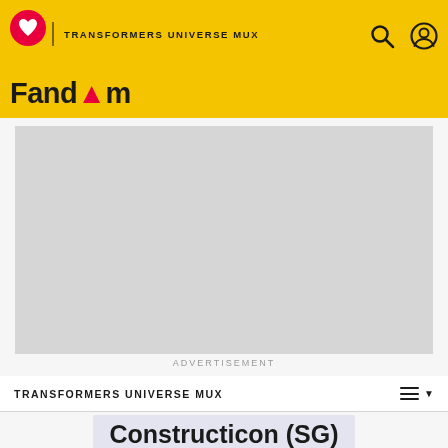TRANSFORMERS UNIVERSE MUX | Fandom
[Figure (other): Advertisement placeholder box, light gray rectangle]
ADVERTISEMENT
TRANSFORMERS UNIVERSE MUX
Constructicon (SG)